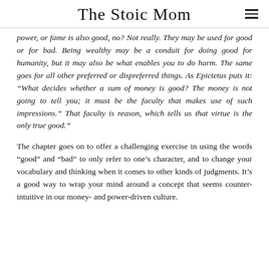The Stoic Mom
power, or fame is also good, no? Not really. They may be used for good or for bad. Being wealthy may be a conduit for doing good for humanity, but it may also be what enables you to do harm. The same goes for all other preferred or dispreferred things. As Epictetus puts it: “What decides whether a sum of money is good? The money is not going to tell you; it must be the faculty that makes use of such impressions.” That faculty is reason, which tells us that virtue is the only true good.”
The chapter goes on to offer a challenging exercise in using the words “good” and “bad” to only refer to one’s character, and to change your vocabulary and thinking when it comes to other kinds of judgments. It’s a good way to wrap your mind around a concept that seems counter-intuitive in our money- and power-driven culture.